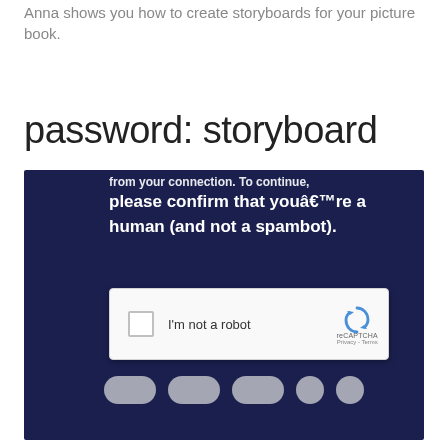Anna shows you how to create storyboards for your picture book.
password: storyboard
[Figure (screenshot): Screenshot of a dark navy blue webpage with a CAPTCHA verification dialog. The page text reads: 'from your connection. To continue, please confirm that you're a human (and not a spambot).' Below is a reCAPTCHA widget with a checkbox labeled 'I'm not a robot' and the reCAPTCHA logo with 'Privacy - Terms' text. Beneath the CAPTCHA widget there appear to be partially visible social media share buttons.]